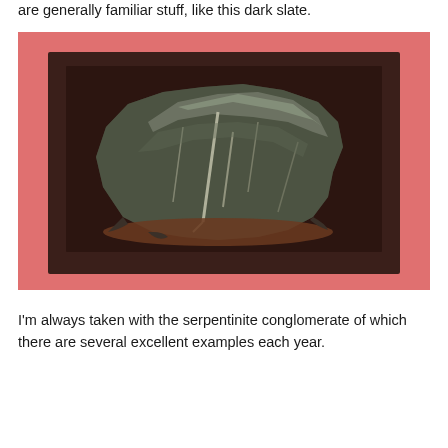are generally familiar stuff, like this dark slate.
[Figure (photo): A dark slate rock specimen displayed on a dark brown square platform/tray against a pink/salmon background.]
I'm always taken with the serpentinite conglomerate of which there are several excellent examples each year.